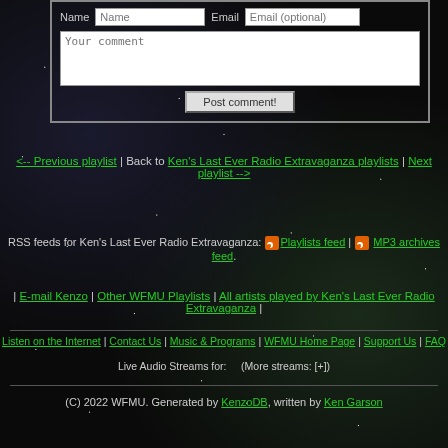[Figure (screenshot): Comment form with Name, Email fields, comment textarea, and Post comment! button, overlaid on a dark starfield background]
<-- Previous playlist | Back to Ken's Last Ever Radio Extravaganza playlists | Next playlist -->
RSS feeds for Ken's Last Ever Radio Extravaganza: [RSS icon] Playlists feed | [RSS icon] MP3 archives feed.
| E-mail Kenzo | Other WFMU Playlists | All artists played by Ken's Last Ever Radio Extravaganza |
Listen on the Internet | Contact Us | Music & Programs | WFMU Home Page | Support Us | FAQ
Live Audio Streams for:     (More streams: [+])
(C) 2022 WFMU. Generated by KenzoDB, written by Ken Garson